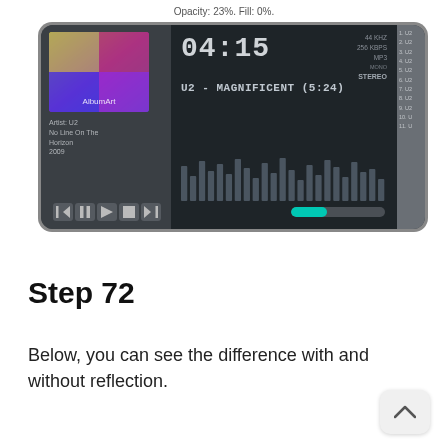[Figure (screenshot): Screenshot of a media player application showing album art, track time 04:15, track name U2 - MAGNIFICENT (5:24), audio specs 44 KHZ 256 KBPS MP3, MONO/STEREO, artist info, visualizer bars, playback controls, and a progress bar. Caption above reads Opacity: 23%. Fill: 0%.]
Step 72
Below, you can see the difference with and without reflection.